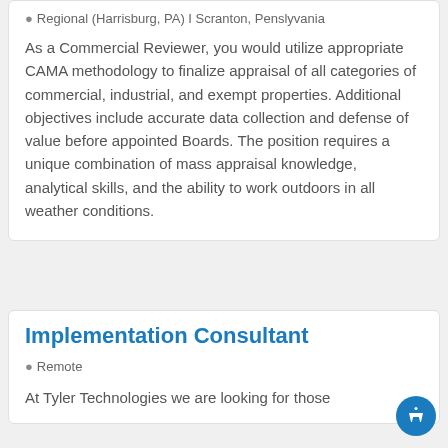Regional (Harrisburg, PA) | Scranton, Penslyvania
As a Commercial Reviewer, you would utilize appropriate CAMA methodology to finalize appraisal of all categories of commercial, industrial, and exempt properties. Additional objectives include accurate data collection and defense of value before appointed Boards. The position requires a unique combination of mass appraisal knowledge, analytical skills, and the ability to work outdoors in all weather conditions.
Implementation Consultant
Remote
At Tyler Technologies we are looking for those